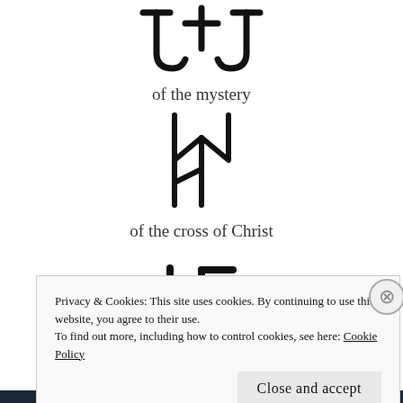[Figure (illustration): Ancient/runic symbol resembling two curved brackets with a cross in the middle, rendered in black strokes at the top of the page]
of the mystery
[Figure (illustration): Runic or ancient symbol resembling a stylized angular letter or glyph with jagged strokes, rendered in black]
of the cross of Christ
[Figure (illustration): Ancient swastika-like cross symbol with curved/angled arms, rendered in black strokes]
And the queen of the heavens
Privacy & Cookies: This site uses cookies. By continuing to use this website, you agree to their use.
To find out more, including how to control cookies, see here: Cookie Policy
Close and accept